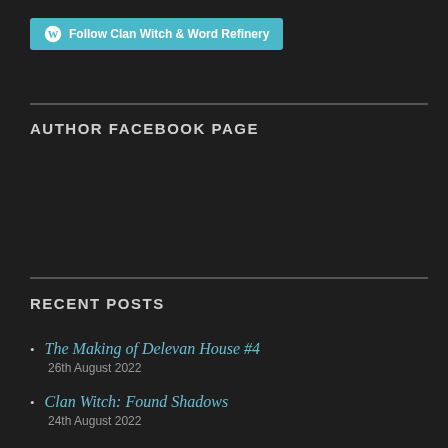[Figure (other): WordPress follow button with cyan background reading 'Follow Clan Witch & Word Refinery']
AUTHOR FACEBOOK PAGE
RECENT POSTS
The Making of Delevan House #4
26th August 2022
Clan Witch: Found Shadows
24th August 2022